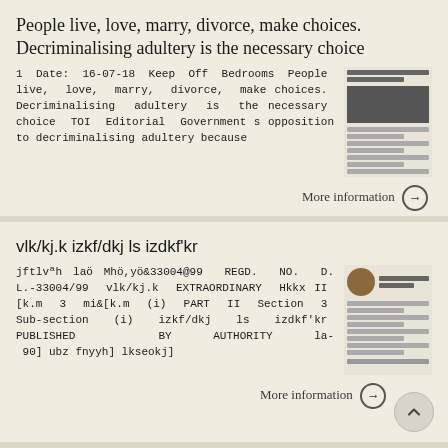People live, love, marry, divorce, make choices. Decriminalising adultery is the necessary choice
1 Date: 16-07-18 Keep Off Bedrooms People live, love, marry, divorce, make choices. Decriminalising adultery is the necessary choice TOI Editorial Government s opposition to decriminalising adultery because
More information →
vlk/kj.k izkf/dkj ls izdkf'kr
jftlvªh laö Mhö,yö&33004@99 REGD. NO. D.L.-33004/99 vlk/kj.k EXTRAORDINARY Hkkx II [k.m 3 mi&[k.m (i) PART II Section 3 Sub-section (i) izkf/dkj ls izdkf'kr PUBLISHED BY AUTHORITY la- 90] ubz fnyyh] lkseokj]
More information →